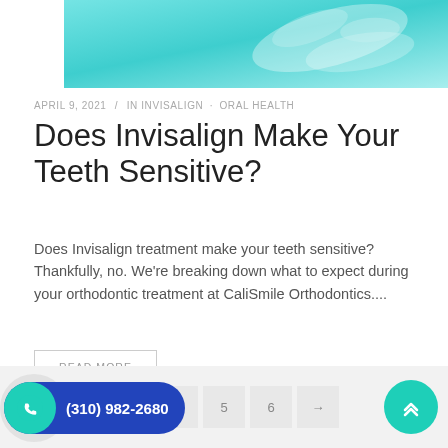[Figure (photo): Teal/turquoise background with dental aligners or clear orthodontic trays visible]
APRIL 9, 2021 / IN INVISALIGN · ORAL HEALTH
Does Invisalign Make Your Teeth Sensitive?
Does Invisalign treatment make your teeth sensitive? Thankfully, no. We're breaking down what to expect during your orthodontic treatment at CaliSmile Orthodontics....
READ MORE
(310) 982-2680